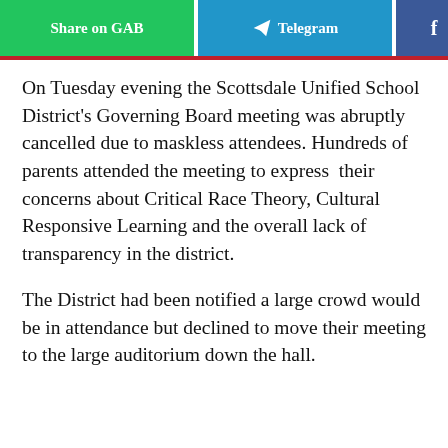[Figure (other): Social sharing buttons bar: Share on GAB (green), Telegram (blue with arrow icon), Facebook (blue f), Twitter (light blue bird), and a partially visible grey button. Red bottom border.]
On Tuesday evening the Scottsdale Unified School District's Governing Board meeting was abruptly cancelled due to maskless attendees. Hundreds of parents attended the meeting to express their concerns about Critical Race Theory, Cultural Responsive Learning and the overall lack of transparency in the district.
The District had been notified a large crowd would be in attendance but declined to move their meeting to the large auditorium down the hall.